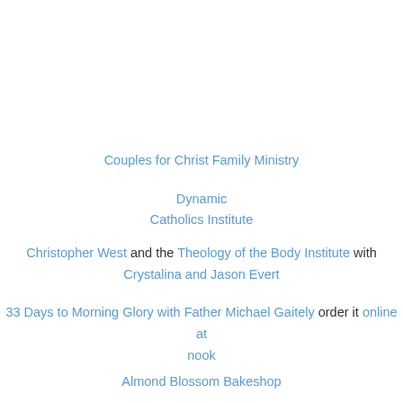Couples for Christ Family Ministry
Dynamic
Catholics Institute
Christopher West and the Theology of the Body Institute with Crystalina and Jason Evert
33 Days to Morning Glory with Father Michael Gaitely order it online at nook
Almond Blossom Bakeshop